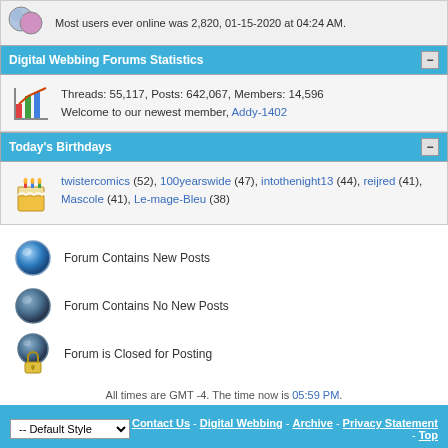Most users ever online was 2,820, 01-15-2020 at 04:24 AM.
Digital Webbing Forums Statistics
Threads: 55,117, Posts: 642,067, Members: 14,596
Welcome to our newest member, Addy-1402
Today's Birthdays
twistercomics (52), 100yearswide (47), intothenight13 (44), reijred (41), Mascole (41), Le-mage-Bleu (38)
Forum Contains New Posts
Forum Contains No New Posts
Forum is Closed for Posting
All times are GMT -4. The time now is 05:59 PM.
Contact Us - Digital Webbing - Archive - Privacy Statement - Top
Powered by vBulletin® Version 3.8.11
Copyright ©2000 - 2022, vBulletin Solutions Inc.
© 1997-2015 Digital Webbing, LLC